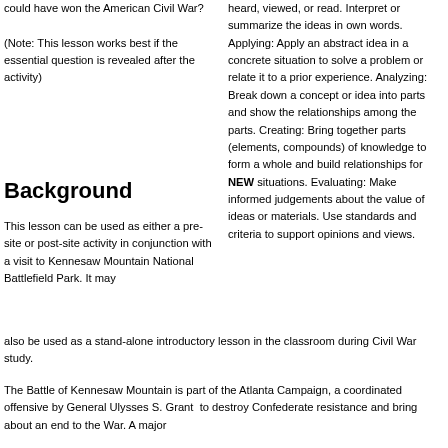could have won the American Civil War?
(Note: This lesson works best if the essential question is revealed after the activity)
heard, viewed, or read. Interpret or summarize the ideas in own words. Applying: Apply an abstract idea in a concrete situation to solve a problem or relate it to a prior experience. Analyzing: Break down a concept or idea into parts and show the relationships among the parts. Creating: Bring together parts (elements, compounds) of knowledge to form a whole and build relationships for NEW situations. Evaluating: Make informed judgements about the value of ideas or materials. Use standards and criteria to support opinions and views.
Background
This lesson can be used as either a pre-site or post-site activity in conjunction with a visit to Kennesaw Mountain National Battlefield Park. It may also be used as a stand-alone introductory lesson in the classroom during Civil War study.
The Battle of Kennesaw Mountain is part of the Atlanta Campaign, a coordinated offensive by General Ulysses S. Grant  to destroy Confederate resistance and bring about an end to the War. A major